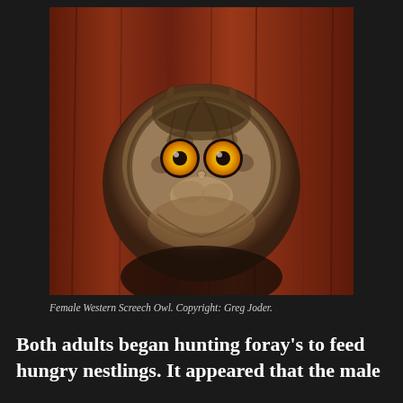[Figure (photo): A Female Western Screech Owl peering out of a circular hole in a reddish-brown wooden surface. The owl has bright yellow eyes and mottled brown and grey feathers.]
Female Western Screech Owl. Copyright: Greg Joder.
Both adults began hunting foray's to feed hungry nestlings. It appeared that the male